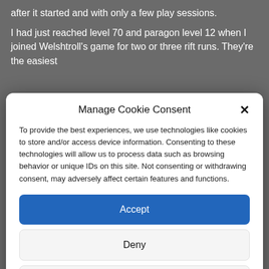after it started and with only a few play sessions.
I had just reached level 70 and paragon level 12 when I joined Welshtroll's game for two or three rift runs. They're the easiest
Manage Cookie Consent
To provide the best experiences, we use technologies like cookies to store and/or access device information. Consenting to these technologies will allow us to process data such as browsing behavior or unique IDs on this site. Not consenting or withdrawing consent, may adversely affect certain features and functions.
Accept
Deny
View preferences
Cookie Policy